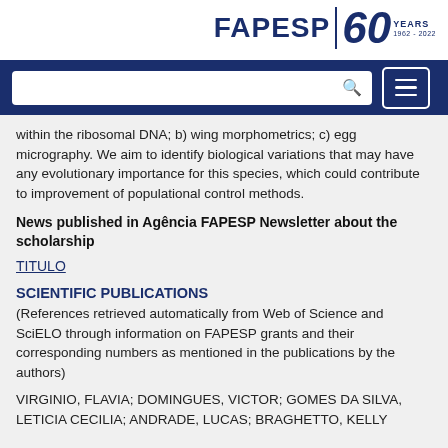[Figure (logo): FAPESP 60 YEARS 1962-2022 logo in dark navy blue]
[Figure (screenshot): Navigation bar with search box and hamburger menu button on dark navy background]
within the ribosomal DNA; b) wing morphometrics; c) egg micrography. We aim to identify biological variations that may have any evolutionary importance for this species, which could contribute to improvement of populational control methods.
News published in Agência FAPESP Newsletter about the scholarship
TITULO
SCIENTIFIC PUBLICATIONS
(References retrieved automatically from Web of Science and SciELO through information on FAPESP grants and their corresponding numbers as mentioned in the publications by the authors)
VIRGINIO, FLAVIA; DOMINGUES, VICTOR; GOMES DA SILVA, LETICIA CECILIA; ANDRADE, LUCAS; BRAGHETTO, KELLY